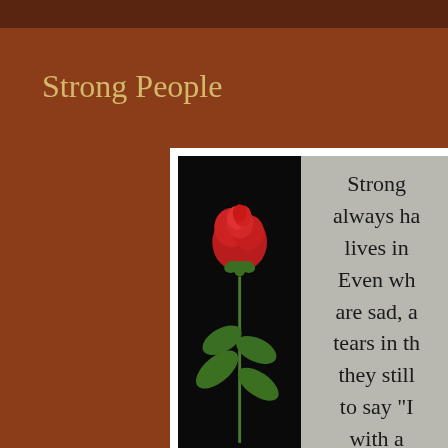Strong People
[Figure (illustration): A framed image split into two panels: left panel shows a single red rose with green stem and leaves against a black background; right panel shows large serif text on a gray textured background reading 'Strong [people] always ha[ve] lives in... Even wh[en they] are sad, a[nd have] tears in th[eir eyes,] they still [manage] to say "I... with a...']